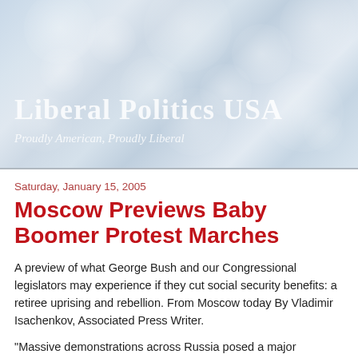[Figure (illustration): Bokeh light background header image for Liberal Politics USA blog with blurred circular lights in blue-grey tones]
Liberal Politics USA
Proudly American, Proudly Liberal
Saturday, January 15, 2005
Moscow Previews Baby Boomer Protest Marches
A preview of what George Bush and our Congressional legislators may experience if they cut social security benefits: a retiree uprising and rebellion. From Moscow today By Vladimir Isachenkov, Associated Press Writer.
"Massive demonstrations across Russia posed a major challenge to President Vladimir Putin on Saturday, and Moscow authorities